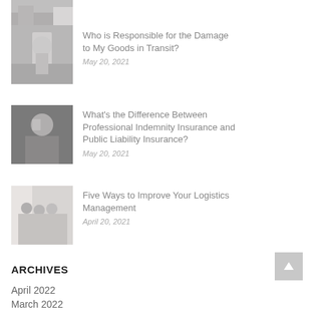[Figure (photo): Partial image of boxes/shelves at top of page (cropped)]
[Figure (photo): Delivery worker in cap holding tablet, standing near van and boxes]
Who is Responsible for the Damage to My Goods in Transit?
May 20, 2021
[Figure (photo): Man in blue shirt with hand near chin, thinking]
What's the Difference Between Professional Indemnity Insurance and Public Liability Insurance?
May 20, 2021
[Figure (photo): Group of professionals standing and talking near windows]
Five Ways to Improve Your Logistics Management
April 20, 2021
ARCHIVES
April 2022
March 2022
January 2022